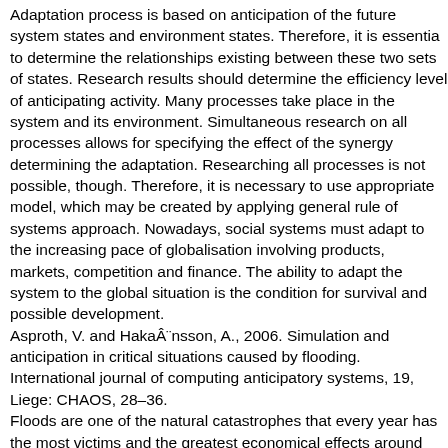Adaptation process is based on anticipation of the future system states and environment states. Therefore, it is essential to determine the relationships existing between these two sets of states. Research results should determine the efficiency level of anticipating activity. Many processes take place in the system and its environment. Simultaneous research on all processes allows for specifying the effect of the synergy determining the adaptation. Researching all processes is not possible, though. Therefore, it is necessary to use appropriate model, which may be created by applying general rule of systems approach. Nowadays, social systems must adapt to the increasing pace of globalisation involving products, markets, competition and finance. The ability to adapt the system to the global situation is the condition for survival and possible development.
Asproth, V. and Hakaänsson, A., 2006. Simulation and anticipation in critical situations caused by flooding. International journal of computing anticipatory systems, 19, Liege: CHAOS, 28–36.
Floods are one of the natural catastrophes that every year has the most victims and the greatest economical effects around the world. In Sweden and other European countries, death due to floods is relatively unusual, but the damage to tangible